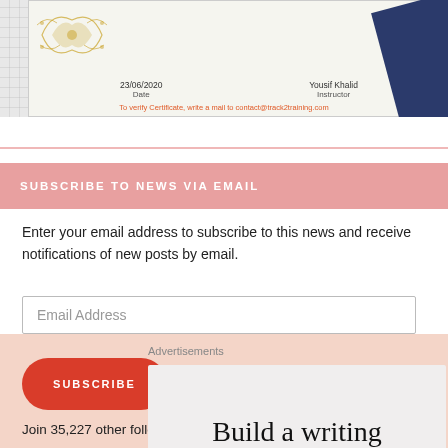[Figure (photo): Certificate banner showing date 23/06/2020, instructor Yousif Khalid, with gold floral decoration, grid background, navy ribbon, and verification text in red: To verify Certificate, write a mail to contact@track2training.com]
SUBSCRIBE TO NEWS VIA EMAIL
Enter your email address to subscribe to this news and receive notifications of new posts by email.
Email Address
SUBSCRIBE
Join 35,227 other followers
Advertisements
[Figure (screenshot): Advertisement card with text 'Build a writing' on light grey background]